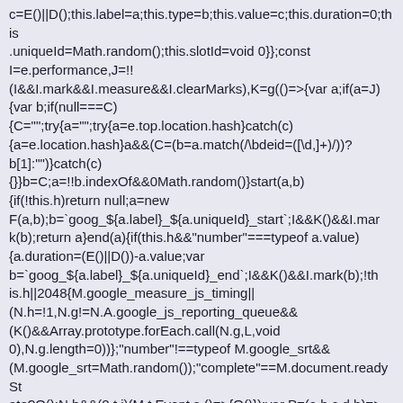c=E()||D();this.label=a;this.type=b;this.value=c;this.duration=0;this.uniqueId=Math.random();this.slotId=void 0}};const I=e.performance,J=!!(I&&I.mark&&I.measure&&I.clearMarks),K=g(()=>{var a;if(a=J){var b;if(null===C){C="";try{a="";try{a=e.top.location.hash}catch(c){a=e.location.hash}a&&(C=(b=a.match(/\bdeid=([\d,]+)/))?b[1]:"")}catch(c){}}b=C;a=!!b.indexOf&&0Math.random()}start(a,b){if(!this.h)return null;a=new F(a,b);b=`goog_${a.label}_${a.uniqueId}_start`;I&&K()&&I.mark(b);return a}end(a){if(this.h&&"number"===typeof a.value){a.duration=(E()||D())-a.value;var b=`goog_${a.label}_${a.uniqueId}_end`;I&&K()&&I.mark(b);!this.h||2048{M.google_measure_js_timing||(N.h=!1,N.g!=N.A.google_js_reporting_queue&&(K()&&Array.prototype.forEach.call(N.g,L,void 0),N.g.length=0))};"number"!==typeof M.google_srt&&(M.google_srt=Math.random());"complete"==M.document.readyState?O():N.h&&(0,t.i)(M,t.Event.s,()=>{O()});var P=(a,b,c,d,h)=>{window.css?window.css(b,c,d,h,void 0):a&&(b=a.href,h?d=b+("&"+c+"="+d):(h="&"+c+"=",c=b.indexOf(h),0>c?d=b+h+d: